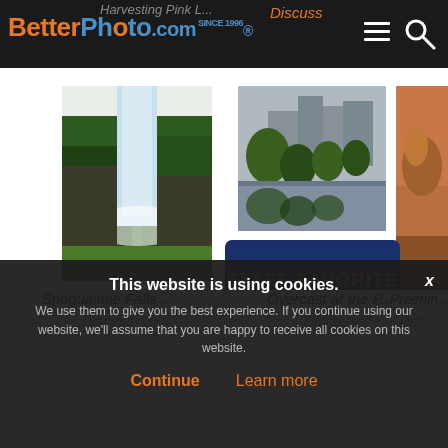BetterPhoto.com
Harvesting Pink L...
Discuss
[Figure (photo): Waterfall in lush green forest - Snoqualmie Falls]
[Figure (photo): City park with lake and buildings - Overcast at the P...]
[Figure (photo): Close-up of a hand or bird - Preenin...]
[Figure (logo): Silver ribbon badge: PHOTO CONTEST FINALIST BetterPhoto.com]
[Figure (logo): Staff Favorite badge: STAFF FAVORITE BetterPhoto.com]
[Figure (logo): Silver ribbon badge (partial): PHOTO C... FINA... BetterPh...]
Snoqualmie Falls ...
Discuss
Overcast at the P...
Discuss
Preenin...
Disc...
This website is using cookies.
We use them to give you the best experience. If you continue using our website, we'll assume that you are happy to receive all cookies on this website.
Continue
Learn more